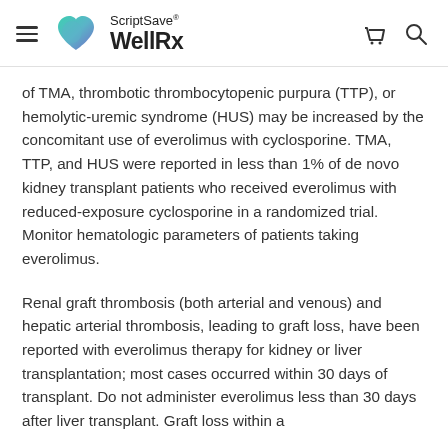ScriptSave® WellRx
of TMA, thrombotic thrombocytopenic purpura (TTP), or hemolytic-uremic syndrome (HUS) may be increased by the concomitant use of everolimus with cyclosporine. TMA, TTP, and HUS were reported in less than 1% of de novo kidney transplant patients who received everolimus with reduced-exposure cyclosporine in a randomized trial. Monitor hematologic parameters of patients taking everolimus.
Renal graft thrombosis (both arterial and venous) and hepatic arterial thrombosis, leading to graft loss, have been reported with everolimus therapy for kidney or liver transplantation; most cases occurred within 30 days of transplant. Do not administer everolimus less than 30 days after liver transplant. Graft loss within a